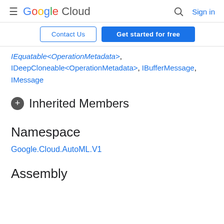Google Cloud  Sign in
Contact Us  Get started for free
IEquatable<OperationMetadata>, IDeepCloneable<OperationMetadata>, IBufferMessage, IMessage
Inherited Members
Namespace
Google.Cloud.AutoML.V1
Assembly